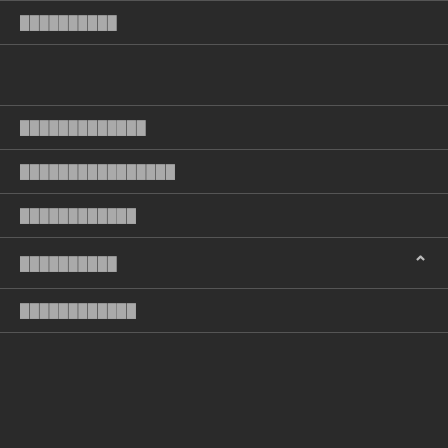██████████
█████████████
████████████████
████████████
██████████
████████████